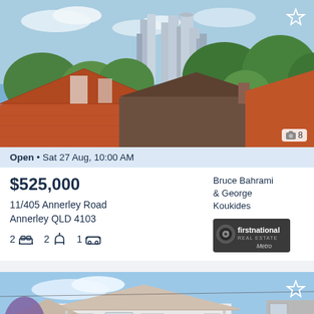[Figure (photo): Aerial view of residential rooftops with Brisbane CBD skyline in background, blue sky with clouds]
Open • Sat 27 Aug, 10:00 AM
$525,000
11/405 Annerley Road
Annerley QLD 4103
2 bed  2 bath  1 garage
Bruce Bahrami & George Koukides
[Figure (logo): First National Real Estate Metro logo]
[Figure (photo): White weatherboard Queenslander house with front porch, blue sky, purple flowering tree]